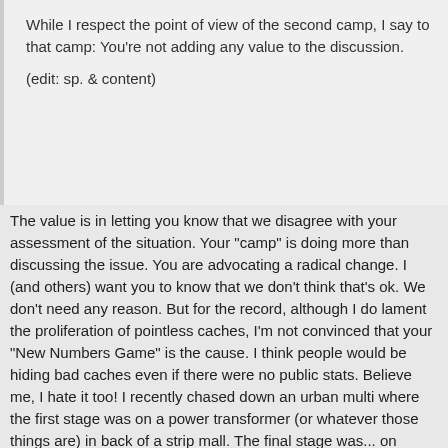While I respect the point of view of the second camp, I say to that camp: You're not adding any value to the discussion.

(edit: sp. & content)
The value is in letting you know that we disagree with your assessment of the situation. Your "camp" is doing more than discussing the issue. You are advocating a radical change. I (and others) want you to know that we don't think that's ok. We don't need any reason. But for the record, although I do lament the proliferation of pointless caches, I'm not convinced that your "New Numbers Game" is the cause. I think people would be hiding bad caches even if there were no public stats. Believe me, I hate it too! I recently chased down an urban multi where the first stage was on a power transformer (or whatever those things are) in back of a strip mall. The final stage was... on another power transformer in back of a strip mall across the street! 🙂 The point is, this cache wasn't about padding numbers. This cache would have been hidden even if stats weren't public.